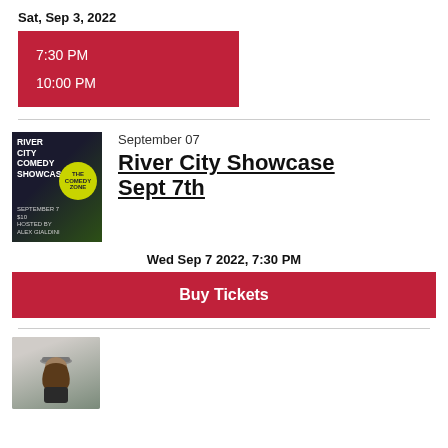Sat, Sep 3, 2022
7:30 PM
10:00 PM
[Figure (illustration): River City Comedy Showcase event poster — dark background with performer silhouette and yellow circle logo]
September 07
River City Showcase Sept 7th
Wed Sep 7 2022, 7:30 PM
Buy Tickets
[Figure (photo): Portrait photo of a man with long hair and a cap, wearing dark clothing, in an indoor setting]